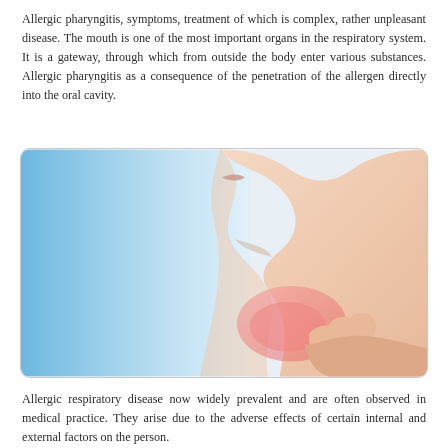Allergic pharyngitis, symptoms, treatment of which is complex, rather unpleasant disease. The mouth is one of the most important organs in the respiratory system. It is a gateway, through which from outside the body enter various substances. Allergic pharyngitis as a consequence of the penetration of the allergen directly into the oral cavity.
[Figure (photo): A side profile photo of a woman touching her throat/neck area which appears reddened/inflamed, suggesting throat irritation or pharyngitis. Background is a blue-to-white gradient on the left side.]
Allergic respiratory disease now widely prevalent and are often observed in medical practice. They arise due to the adverse effects of certain internal and external factors on the person.